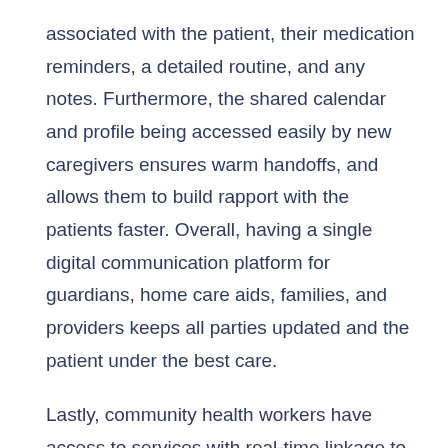associated with the patient, their medication reminders, a detailed routine, and any notes. Furthermore, the shared calendar and profile being accessed easily by new caregivers ensures warm handoffs, and allows them to build rapport with the patients faster. Overall, having a single digital communication platform for guardians, home care aids, families, and providers keeps all parties updated and the patient under the best care.
Lastly, community health workers have access to services with real-time linkage to relevant education and local IDD resources. Helpful information regarding IDD can be time consuming to find, if at all. CaringWire sees this information gap and provides education to both the care manager and the patient. For the patient